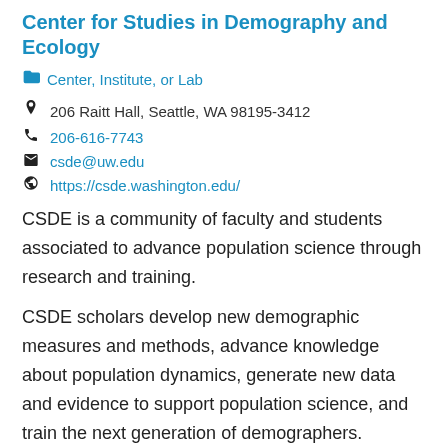Center for Studies in Demography and Ecology
Center, Institute, or Lab
206 Raitt Hall, Seattle, WA 98195-3412
206-616-7743
csde@uw.edu
https://csde.washington.edu/
CSDE is a community of faculty and students associated to advance population science through research and training.
CSDE scholars develop new demographic measures and methods, advance knowledge about population dynamics, generate new data and evidence to support population science, and train the next generation of demographers.